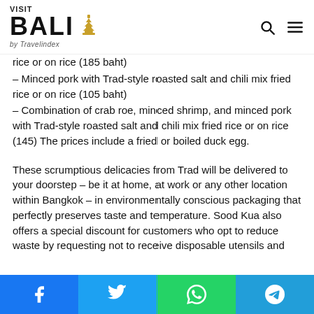VISIT BALI by Travelindex
– rice or on rice (185 baht)
– Minced pork with Trad-style roasted salt and chili mix fried rice or on rice (105 baht)
– Combination of crab roe, minced shrimp, and minced pork with Trad-style roasted salt and chili mix fried rice or on rice (145) The prices include a fried or boiled duck egg.
These scrumptious delicacies from Trad will be delivered to your doorstep – be it at home, at work or any other location within Bangkok – in environmentally conscious packaging that perfectly preserves taste and temperature. Sood Kua also offers a special discount for customers who opt to reduce waste by requesting not to receive disposable utensils and
Facebook | Twitter | WhatsApp | Telegram